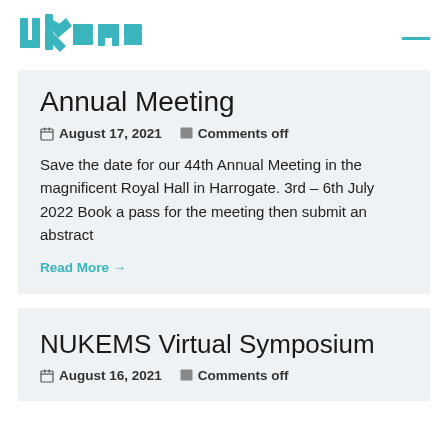[Figure (logo): UKEMS logo in teal color]
Annual Meeting
August 17, 2021   Comments off
Save the date for our 44th Annual Meeting in the magnificent Royal Hall in Harrogate. 3rd – 6th July 2022 Book a pass for the meeting then submit an abstract
Read More →
NUKEMS Virtual Symposium
August 16, 2021   Comments off